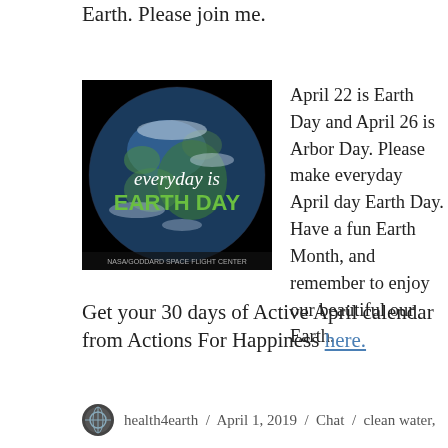Earth. Please join me.
[Figure (illustration): Globe image with text overlay: 'everyday is EARTH DAY' — white italic text and green bold text on a dark space background with Earth visible]
April 22 is Earth Day and April 26 is Arbor Day. Please make everyday April day Earth Day. Have a fun Earth Month, and remember to enjoy our beautiful our Earth.
Get your 30 days of Active April calendar from Actions For Happiness here.
health4earth / April 1, 2019 / Chat / clean water,